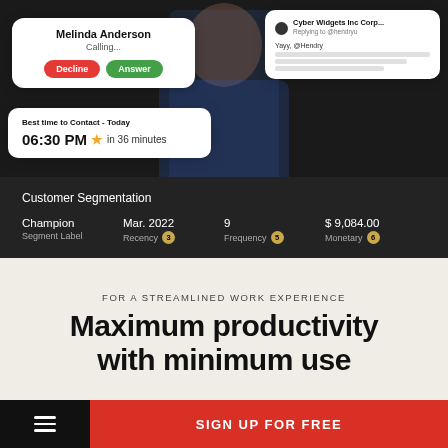[Figure (screenshot): Dark background UI screenshot showing phone call card (Melinda Anderson, Calling..., Decline/Answer buttons), a Best time to Contact card (06:30 PM star in 36 minutes), a social media reply card (Cyber Widgets Inc Corp... Replying to @hendryu, Yayy, @Hendry), a person in blue jacket holding laptop, and a Customer Segmentation panel (Champion, Mar. 2022, 9, $9,084.00, Segment Label, Recency 3, Frequency 5, Monetary 6)]
FOR A STREAMLINED WORK EXPERIENCE
Maximum productivity with minimum use
SIGN UP FOR FREE